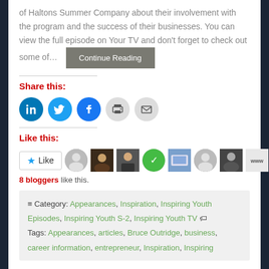of Haltons Summer Company about their involvement with the program and the success of their businesses. You can view the full episode on Your TV and don't forget to check out some of…  [Continue Reading]
Share this:
[Figure (infographic): Social sharing icons: LinkedIn, Twitter, Facebook, Print, Email]
Like this:
[Figure (infographic): Like button and 8 blogger avatars]
8 bloggers like this.
Category: Appearances, Inspiration, Inspiring Youth Episodes, Inspiring Youth S-2, Inspiring Youth TV  Tags: Appearances, articles, Bruce Outridge, business, career information, entrepreneur, Inspiration, Inspiring